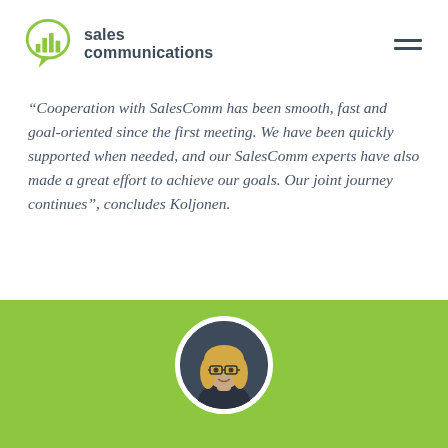sales communications
“Cooperation with SalesComm has been smooth, fast and goal-oriented since the first meeting. We have been quickly supported when needed, and our SalesComm experts have also made a great effort to achieve our goals. Our joint journey continues”, concludes Koljonen.
[Figure (photo): Green banner section with a circular profile photo of a woman with blonde hair and glasses on a dark background, centered horizontally.]